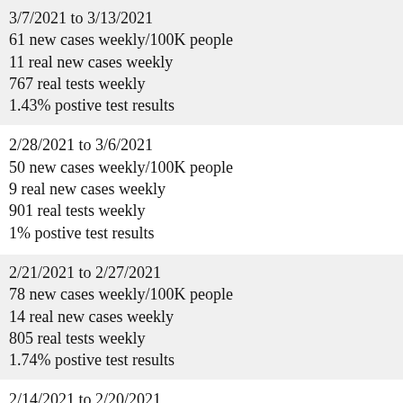3/7/2021 to 3/13/2021
61 new cases weekly/100K people
11 real new cases weekly
767 real tests weekly
1.43% postive test results
2/28/2021 to 3/6/2021
50 new cases weekly/100K people
9 real new cases weekly
901 real tests weekly
1% postive test results
2/21/2021 to 2/27/2021
78 new cases weekly/100K people
14 real new cases weekly
805 real tests weekly
1.74% postive test results
2/14/2021 to 2/20/2021
45 new cases weekly/100K people
8 real new cases weekly
867 real tests weekly
0.92% postive test results